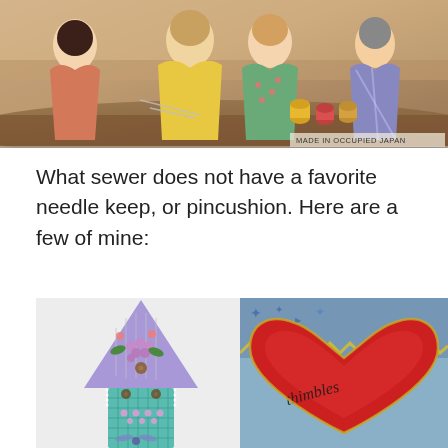[Figure (photo): Vintage illustration of women sewing, with thread spools visible. Text reads 'MADE IN OCCUPIED JAPAN' in bottom right corner.]
What sewer does not have a favorite needle keep, or pincushion. Here are a few of mine:
[Figure (photo): A decorative needle keep in the shape of a tower/arrow, made of purple felt on top and teal fabric on the bottom, adorned with floral embroidery, beads, buttons, and needles.]
[Figure (photo): A red heart-shaped pincushion with embroidered text, set against a blue and gold decorative background with zigzag edge trim.]